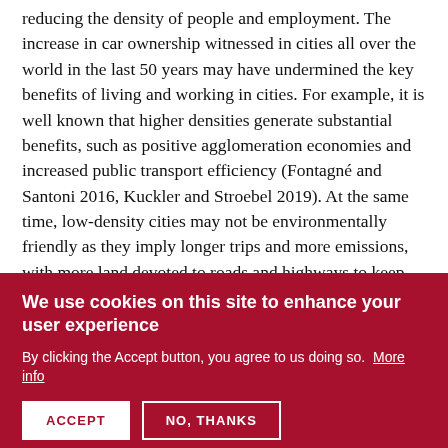reducing the density of people and employment. The increase in car ownership witnessed in cities all over the world in the last 50 years may have undermined the key benefits of living and working in cities. For example, it is well known that higher densities generate substantial benefits, such as positive agglomeration economies and increased public transport efficiency (Fontagné and Santoni 2016, Kuckler and Stroebel 2019). At the same time, low-density cities may not be environmentally friendly as they imply longer trips and more emissions, with more land devoted to roads and highways to keep traffic congestion at acceptable levels.
Although the rise in the number of electric cars will ease some of the costs, cities of the future should be critical
[Figure (screenshot): Cookie consent banner with dark red background. Title: 'We use cookies on this site to enhance your user experience'. Body text: 'By clicking the Accept button, you agree to us doing so. More info'. Two buttons: ACCEPT and NO, THANKS.]